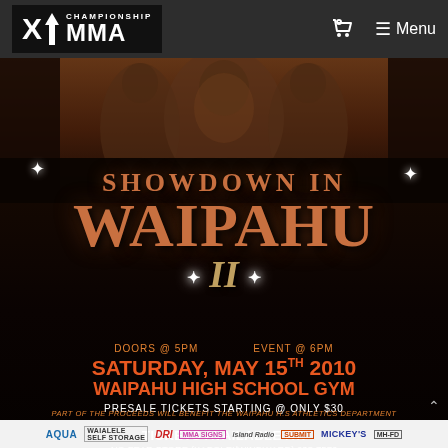X1 Championship MMA — Menu
[Figure (photo): Event poster for Showdown in Waipahu II MMA event showing fighters silhouettes in background]
SHOWDOWN IN WAIPAHU II
DOORS @ 5PM    EVENT @ 6PM
SATURDAY, MAY 15TH 2010
WAIPAHU HIGH SCHOOL GYM
PRESALE TICKETS STARTING @ ONLY $30
TICKETS AVAILABLE AT:
NO FEAR STORE (KAPOLEI/WINDWARD) 235-7576
RAZOR CONCEPTS (PEARLRIDGE) 485-5007
FIGHTERS CORNER (KALIHI) 599-4448
76 GAS STATION (WAIPAHU) : OTM (TOWNSIDE) 591-6620
UH CAMPUS CENTER : FIGHT STOP : ALL MWR
FOR TICKET INFO 808.489.2660
PART OF THE PROCEEDS WILL BENEFIT THE WAIPAHU H.S ATHLETICS DEPARTMENT
AQUA  WAIALELE SELF STORAGE  DRI  [sponsors]  Island Radio  [sponsors]  MICKEY'S  [sponsors]